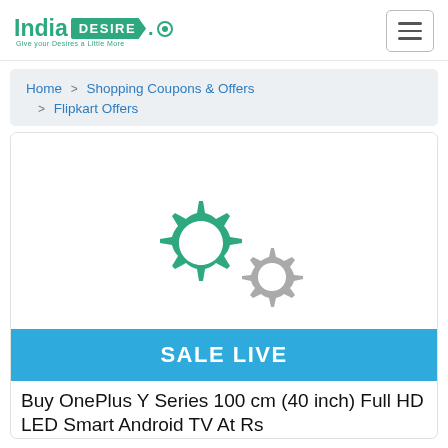India DESIRE
Home > Shopping Coupons & Offers > Flipkart Offers
[Figure (illustration): Two interlocking gear icons — one large green gear and one smaller grey gear — on a white background inside a card.]
SALE LIVE
Buy OnePlus Y Series 100 cm (40 inch) Full HD LED Smart Android TV At Rs